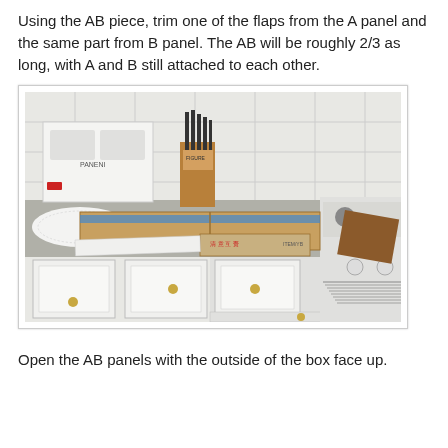Using the AB piece, trim one of the flaps from the A panel and the same part from B panel. The AB will be roughly 2/3 as long, with A and B still attached to each other.
[Figure (photo): Kitchen counter with cardboard box panels laid flat on the counter. White cabinets below, white appliances (bread maker, stove) visible. A knife block is on the counter. Cardboard panels with tape visible on counter surface.]
Open the AB panels with the outside of the box face up.